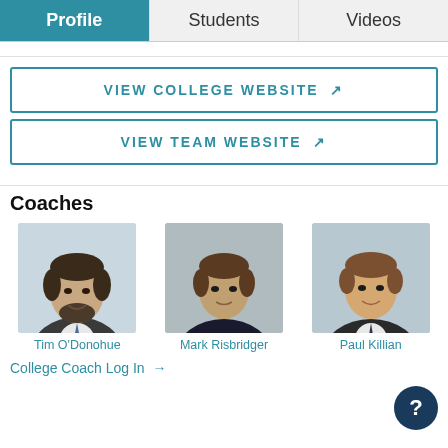Profile | Students | Videos
VIEW COLLEGE WEBSITE ↗
VIEW TEAM WEBSITE ↗
Coaches
[Figure (photo): Headshot photo of Tim O'Donohue, a male coach wearing a suit]
Tim O'Donohue
[Figure (photo): Headshot photo of Mark Risbridger, a male coach in dark clothing]
Mark Risbridger
[Figure (photo): Headshot photo of Paul Killian, a male coach wearing a suit and tie]
Paul Killian
College Coach Log In →